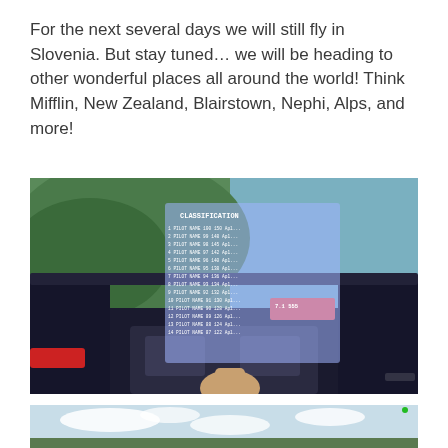For the next several days we will still fly in Slovenia. But stay tuned… we will be heading to other wonderful places all around the world! Think Mifflin, New Zealand, Blairstown, Nephi, Alps, and more!
[Figure (screenshot): Flight simulator cockpit view showing a glider or small aircraft cockpit interior with instruments and a hand on the control column. Through the canopy, a green mountainous landscape is visible. A semi-transparent classification/scoreboard overlay is visible in the center of the image.]
[Figure (screenshot): Flight simulator exterior view showing a partly cloudy sky with scattered white clouds over a green landscape, seen from low altitude. A small green dot is visible in the upper right corner.]